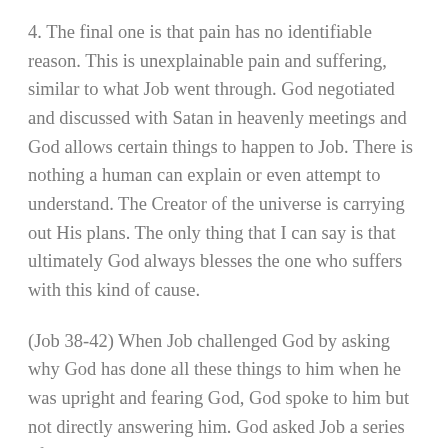4. The final one is that pain has no identifiable reason. This is unexplainable pain and suffering, similar to what Job went through. God negotiated and discussed with Satan in heavenly meetings and God allows certain things to happen to Job. There is nothing a human can explain or even attempt to understand. The Creator of the universe is carrying out His plans. The only thing that I can say is that ultimately God always blesses the one who suffers with this kind of cause.
(Job 38-42) When Job challenged God by asking why God has done all these things to him when he was upright and fearing God, God spoke to him but not directly answering him. God asked Job a series of questions pertaining to earth's nature which no human can fathom to answer. God asked “Where